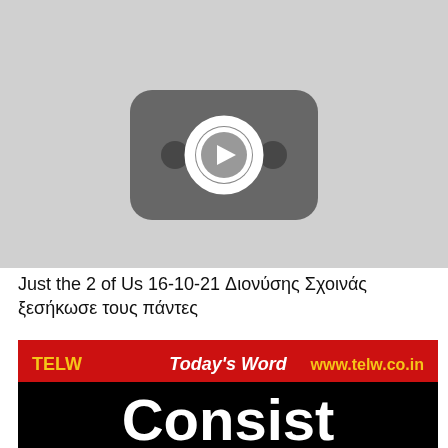[Figure (screenshot): YouTube video thumbnail placeholder showing a gray background with a dark rounded-rectangle YouTube play button icon in the center, containing a white circle with a play triangle and two small circles on either side.]
Just the 2 of Us 16-10-21 Διονύσης Σχοινάς ξεσήκωσε τους πάντες
[Figure (screenshot): A promotional banner/thumbnail with a black background. At the top there is a red horizontal bar with text: 'TELW' on the left in yellow, 'Today's Word' in the center in white italic, and 'www.telw.co.in' on the right in yellow. Below the red bar, on the black background, partial large bold white text reads 'Consist' (or similar word, partially cut off).]